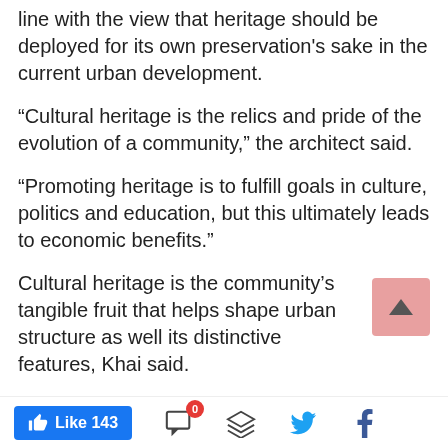line with the view that heritage should be deployed for its own preservation's sake in the current urban development.
“Cultural heritage is the relics and pride of the evolution of a community,” the architect said.
“Promoting heritage is to fulfill goals in culture, politics and education, but this ultimately leads to economic benefits.”
Cultural heritage is the community’s tangible fruit that helps shape urban structure as well its distinctive features, Khai said.
Having many remarkable architectural heritage buildings makes an enormous difference to the attractiveness of a city’s economic and political activities
[Figure (other): Scroll-to-top button: pink/salmon colored square button with an upward-pointing triangle arrow icon]
Like 143  [comment icon with 0 badge]  [layers icon]  [Twitter icon]  [Facebook icon]